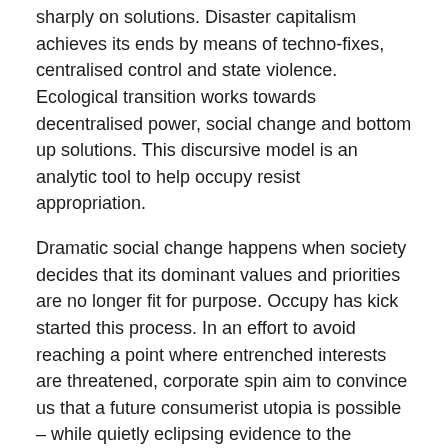sharply on solutions. Disaster capitalism achieves its ends by means of techno-fixes, centralised control and state violence. Ecological transition works towards decentralised power, social change and bottom up solutions. This discursive model is an analytic tool to help occupy resist appropriation.
Dramatic social change happens when society decides that its dominant values and priorities are no longer fit for purpose. Occupy has kick started this process. In an effort to avoid reaching a point where entrenched interests are threatened, corporate spin aim to convince us that a future consumerist utopia is possible – while quietly eclipsing evidence to the contrary.
Visit The Occupied Times website.